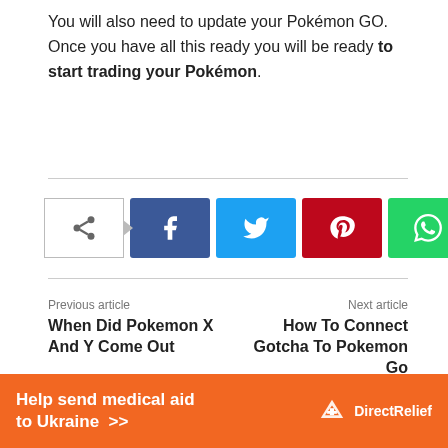You will also need to update your Pokémon GO. Once you have all this ready you will be ready to start trading your Pokémon.
[Figure (infographic): Social share buttons row: share icon with arrow, Facebook (blue), Twitter (cyan), Pinterest (red), WhatsApp (green)]
Previous article: When Did Pokemon X And Y Come Out | Next article: How To Connect Gotcha To Pokemon Go
[Figure (infographic): Orange advertisement banner: Help send medical aid to Ukraine >> DirectRelief logo]